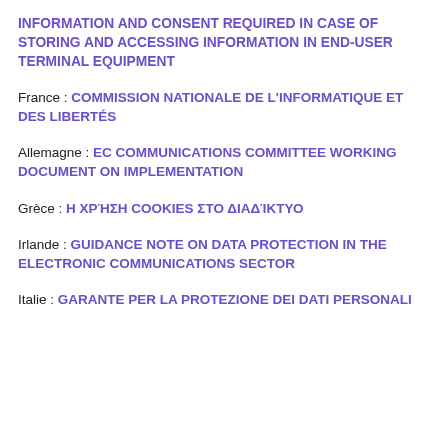INFORMATION AND CONSENT REQUIRED IN CASE OF STORING AND ACCESSING INFORMATION IN END-USER TERMINAL EQUIPMENT
France : COMMISSION NATIONALE DE L'INFORMATIQUE ET DES LIBERTÉS
Allemagne : EC COMMUNICATIONS COMMITTEE WORKING DOCUMENT ON IMPLEMENTATION
Grèce : Η ΧΡΉΣΗ COOKIES ΣΤΟ ΔΙΑΔΊΚΤΥΟ
Irlande : GUIDANCE NOTE ON DATA PROTECTION IN THE ELECTRONIC COMMUNICATIONS SECTOR
Italie : GARANTE PER LA PROTEZIONE DEI DATI PERSONALI